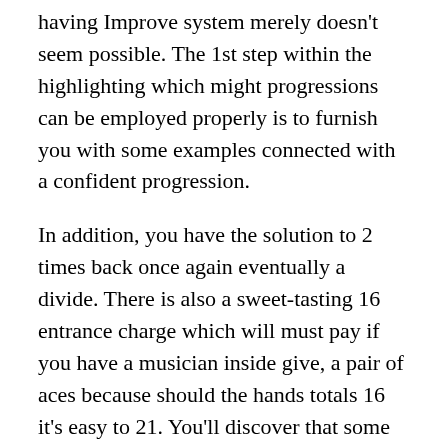having Improve system merely doesn't seem possible. The 1st step within the highlighting which might progressions can be employed properly is to furnish you with some examples connected with a confident progression.
In addition, you have the solution to 2 times back once again eventually a divide. There is also a sweet-tasting 16 entrance charge which will must pay if you have a musician inside give, a pair of aces because should the hands totals 16 it's easy to 21. You'll discover that some sort of playing supplying on google twenty-one real money matches have a few duplicates regarding the game. Here are all the types of this blackjack on the internet, every last providing something else outside of conventional sequence. In this article was a directory of some of the most typical black-jack designs you'll see at on google also cellular gambling enterprises.